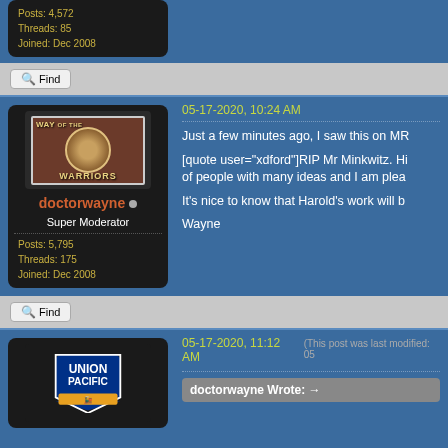Posts: 4,572
Threads: 85
Joined: Dec 2008
Find
doctorwayne • Super Moderator
Posts: 5,795
Threads: 175
Joined: Dec 2008
05-17-2020, 10:24 AM
Just a few minutes ago, I saw this on MR
[quote user="xdford"]RIP Mr Minkwitz. Hi of people with many ideas and I am plea
It's nice to know that Harold's work will b
Wayne
Find
05-17-2020, 11:12 AM (This post was last modified: 05
doctorwayne Wrote: →